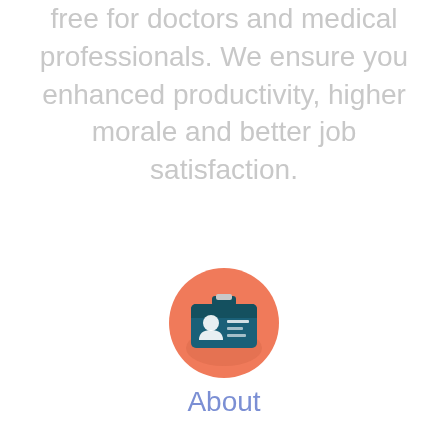free for doctors and medical professionals. We ensure you enhanced productivity, higher morale and better job satisfaction.
[Figure (illustration): Orange circular icon with a flat-design ID badge/card image in teal and white, featuring a person silhouette and card lines]
About